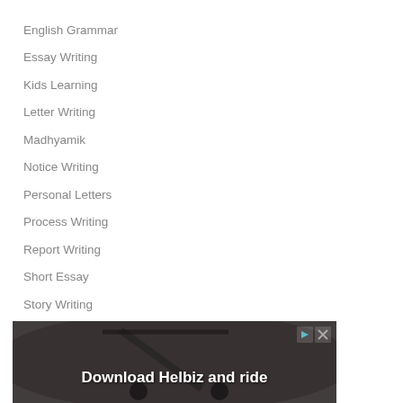English Grammar
Essay Writing
Kids Learning
Letter Writing
Madhyamik
Notice Writing
Personal Letters
Process Writing
Report Writing
Short Essay
Story Writing
[Figure (photo): Advertisement banner showing an electric scooter with text 'Download Helbiz and ride' on a dark blurred urban background, with close/info control buttons in top right corner.]